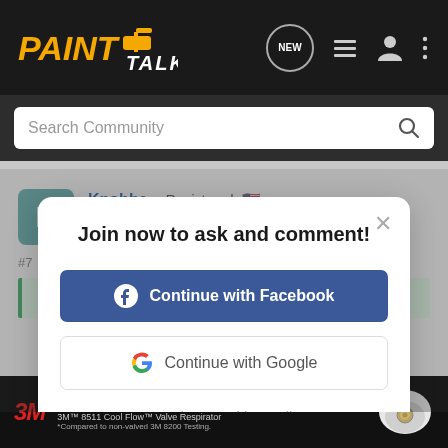[Figure (logo): PaintTalk logo with paint roller icon on dark nav bar]
Search Community
Knobbe · Registered 🇺🇸
Property Manager
#7
Join now to ask and comment!
Continue with Facebook
Continue with Google
or sign up with email
Hello co...k on a bunch o...g with 000...
[Figure (infographic): 3M advertisement banner: UP TO 50% EASIER BREATHING. 3M 8511 Cool Flow Valve Respirator. *Compared to non-valved 3M 8200 Testing.]